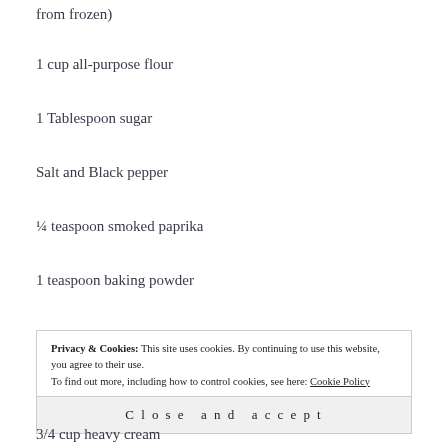from frozen)
1 cup all-purpose flour
1 Tablespoon sugar
Salt and Black pepper
¼ teaspoon smoked paprika
1 teaspoon baking powder
Privacy & Cookies: This site uses cookies. By continuing to use this website, you agree to their use. To find out more, including how to control cookies, see here: Cookie Policy
Close and accept
3/4 cup heavy cream